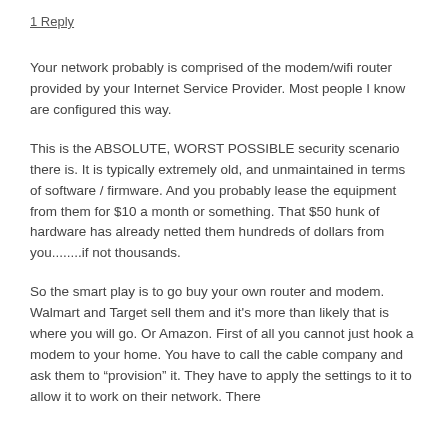1 Reply
Your network probably is comprised of the modem/wifi router provided by your Internet Service Provider.  Most people I know are configured this way.
This is the ABSOLUTE, WORST POSSIBLE security scenario there is.   It is typically extremely old, and unmaintained in terms of software / firmware.  And you probably lease the equipment from them for $10 a month or something.  That $50 hunk of hardware has already netted them hundreds of dollars from you........if not thousands.
So the smart play is to go buy your own router and modem.  Walmart and Target sell them and it’s more than likely that is where you will go.  Or Amazon.   First of all you cannot just hook a modem to your home.  You have to call the cable company and ask them to “provision” it.   They have to apply the settings to it to allow it to work on their network.  There